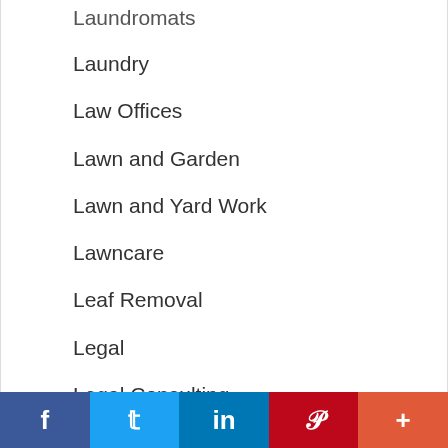Laundromats
Laundry
Law Offices
Lawn and Garden
Lawn and Yard Work
Lawncare
Leaf Removal
Legal
Legal Consulting
Legal Services
Lessons
Limousine Services
Loans
f  t  in  P  +